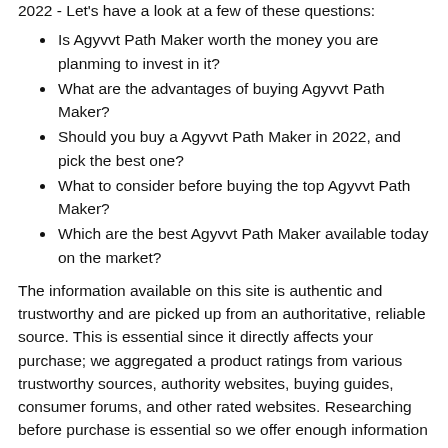2022 - Let's have a look at a few of these questions:
Is Agyvvt Path Maker worth the money you are planming to invest in it?
What are the advantages of buying Agyvvt Path Maker?
Should you buy a Agyvvt Path Maker in 2022, and pick the best one?
What to consider before buying the top Agyvvt Path Maker?
Which are the best Agyvvt Path Maker available today on the market?
The information available on this site is authentic and trustworthy and are picked up from an authoritative, reliable source. This is essential since it directly affects your purchase; we aggregated a product ratings from various trustworthy sources, authority websites, buying guides, consumer forums, and other rated websites. Researching before purchase is essential so we offer enough information about Agyvvt Path Maker to help you decide about what you are going to buy.
...